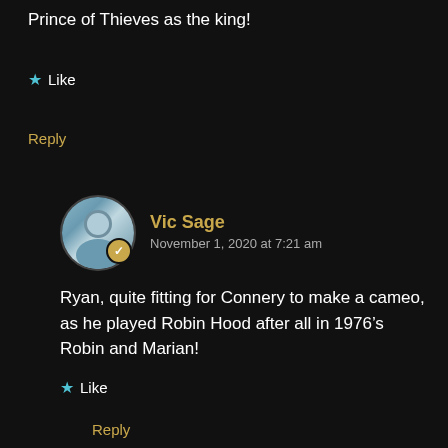Prince of Thieves as the king!
Like
Reply
[Figure (illustration): Circular avatar of user Vic Sage with a gold verified checkmark badge]
Vic Sage
November 1, 2020 at 7:21 am
Ryan, quite fitting for Connery to make a cameo, as he played Robin Hood after all in 1976’s Robin and Marian!
Like
Reply